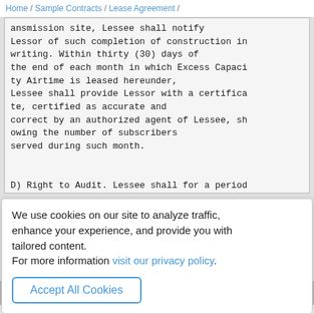Home / Sample Contracts / Lease Agreement /
ansmission site, Lessee shall notify Lessor of such completion of construction in writing. Within thirty (30) days of the end of each month in which Excess Capacity Airtime is leased hereunder, Lessee shall provide Lessor with a certificate, certified as accurate and correct by an authorized agent of Lessee, showing the number of subscribers served during such month.

D) Right to Audit. Lessee shall for a period
We use cookies on our site to analyze traffic, enhance your experience, and provide you with tailored content.
For more information visit our privacy policy.
Accept All Cookies